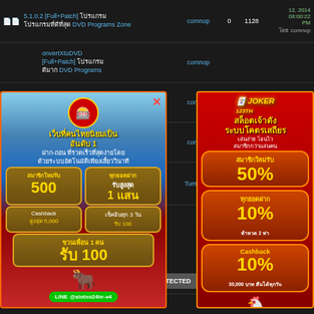| icons | title | user | replies | views | date |
| --- | --- | --- | --- | --- | --- |
| 📄📄 | 5.1.0.2 [Full+Patch] โปรแกรม โปรแกรมที่ดีที่สุด DVD Programs Zone | comnop | 0 | 1128 | 12, 2014 08:00:22 PM โดย comnop |
|  | ConvertXtoDVD [Full+Patch] โปรแกรม ดีมาก DVD Programs | comnop |  |  |  |
|  | ConvertXtoDVD [Full+Patch] โปรแกรม ดีมาก DVD Programs | comnop |  |  |  |
|  | ConvertXtoDVD [Full+Patch] โปรแกรม ดีมาก DVD Programs | comnop |  |  |  |
|  | ConvertXtoDVD 5.2.0.7 [Full+Patch] โปรแกรมดีมากที่สุด DVD Programs | Tummy33 |  |  |  |
[Figure (infographic): Thai gambling/slot website advertisement banner (slotxo24hr-v4) with promotions: สมาชิกใหม่รับ 500, ทุกยอดฝาก รับสูงสุด 1 แสน, Cashback สูงสุด 5,000, เช็คอินทุก 3 วัน รับ 100, ชวนเพื่อน 1 คน รับ 100. LINE: @slotxo24hr-v4]
[Figure (infographic): Thai Joker123th gambling website advertisement banner with promotions: สล็อตเจ้าดัง ระบบโคตรเสถียร เล่นง่าย โอนไว สมาชิกกว่าแสนคน. สมาชิกใหม่รับ 50%, ทุกยอดฝาก 10% ท้าหวด 2 ท่า, Cashback 10% 30,000 บาท คืนได้ทุกวัน. LINE: @joker123th]
DMCA PROTECTED
Google โปรแกรมที่ดีที่สุด : ตุลาคม 10, 2022 10:34:19 PM